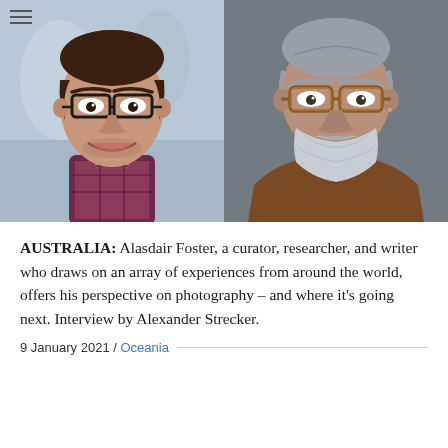[Figure (photo): Two headshot photos side by side. Left: a young man with dark hair and black-rimmed glasses, smiling, wearing a plaid shirt, with a blurred outdoor background. Right: an older man with grey hair and tortoiseshell glasses, a grey-white beard, wearing a turtleneck and brown jacket, against a dark grey background.]
AUSTRALIA: Alasdair Foster, a curator, researcher, and writer who draws on an array of experiences from around the world, offers his perspective on photography – and where it's going next. Interview by Alexander Strecker.
9 January 2021 / Oceania